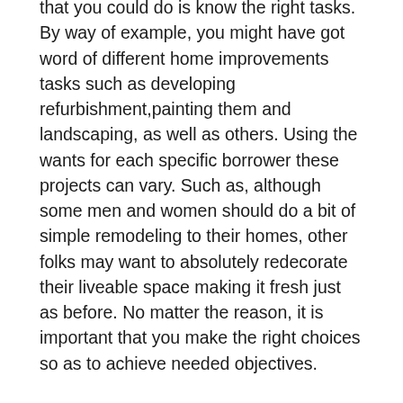that you could do is know the right tasks. By way of example, you might have got word of different home improvements tasks such as developing refurbishment,painting them and landscaping, as well as others. Using the wants for each specific borrower these projects can vary. Such as, although some men and women should do a bit of simple remodeling to their homes, other folks may want to absolutely redecorate their liveable space making it fresh just as before. No matter the reason, it is important that you make the right choices so as to achieve needed objectives.
Another necessary facet of do-it-yourself and reconstruction in China is the electrical systems. This field makes up a crucial part in